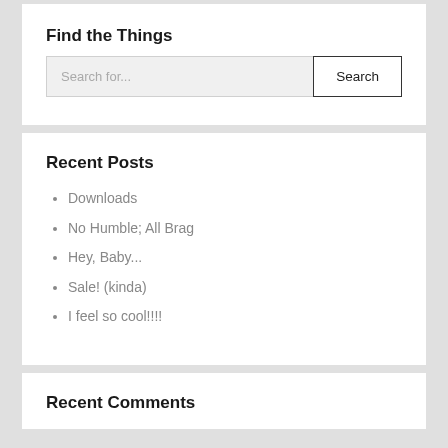Find the Things
Search for...
Recent Posts
Downloads
No Humble; All Brag
Hey, Baby...
Sale! (kinda)
I feel so cool!!!!
Recent Comments